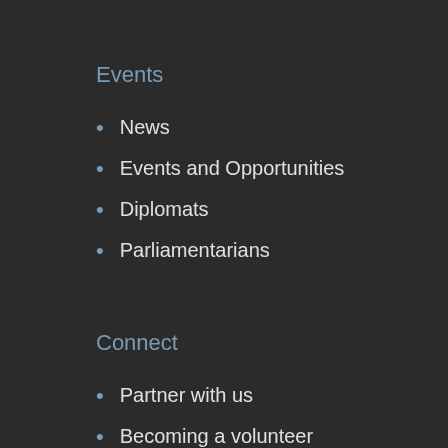Events
News
Events and Opportunities
Diplomats
Parliamentarians
Connect
Partner with us
Becoming a volunteer
Donate